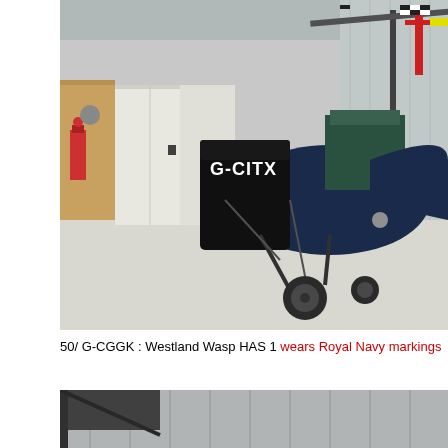[Figure (photo): A blue gyroplane or autogyro with registration G-CITX parked inside a hangar. The aircraft has a visible engine, rotor mast, and front wheel. The hangar has metal wall cladding, a fire extinguisher, and storage cabinets visible in the background.]
50/ G-CGGK : Westland Wasp HAS 1 wears Royal Navy markings  XT434 c
[Figure (photo): Partial view of a hangar interior showing corrugated metal wall cladding and what appears to be the top of an aircraft or vehicle, cropped at the bottom of the page.]